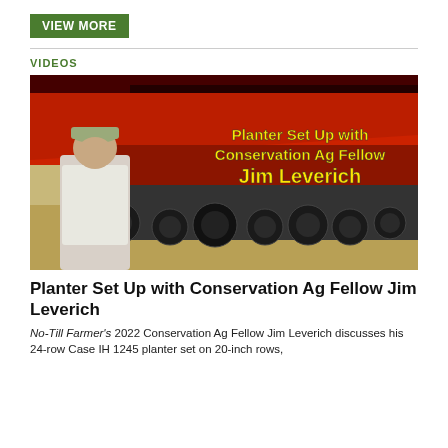VIEW MORE
VIDEOS
[Figure (photo): Video thumbnail showing a farmer standing in front of a large red Case IH 1245 planter. Yellow bold text overlay reads: 'Planter Set Up with Conservation Ag Fellow Jim Leverich']
Planter Set Up with Conservation Ag Fellow Jim Leverich
No-Till Farmer's 2022 Conservation Ag Fellow Jim Leverich discusses his 24-row Case IH 1245 planter set on 20-inch rows,